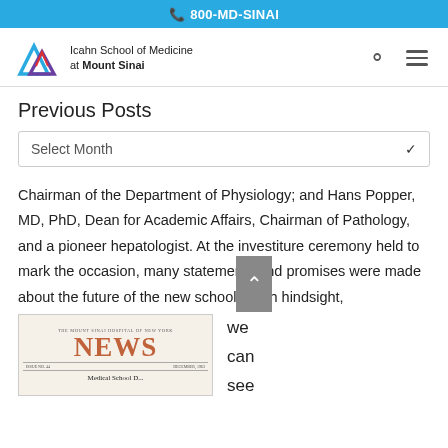800-MD-SINAI
[Figure (logo): Icahn School of Medicine at Mount Sinai logo with mountain icon in blue, purple, and red]
Previous Posts
Select Month
Chairman of the Department of Physiology; and Hans Popper, MD, PhD, Dean for Academic Affairs, Chairman of Pathology, and a pioneer hepatologist. At the investiture ceremony held to mark the occasion, many statements and promises were made about the future of the new school.  With hindsight,
[Figure (photo): The Mount Sinai Hospital of New York NEWS publication cover showing the word NEWS in large red letters]
we can see